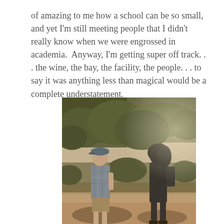of amazing to me how a school can be so small, and yet I'm still meeting people that I didn't really know when we were engrossed in academia.  Anyway, I'm getting super off track. . . the wine, the bay, the facility, the people. . . to say it was anything less than magical would be a complete understatement.
[Figure (photo): Two people standing on a dirt trail outdoors with shrubs and trees in the background under a bright sky with sunlight. One person on the left wearing a plaid shirt and cap, another on the right in dark clothing.]